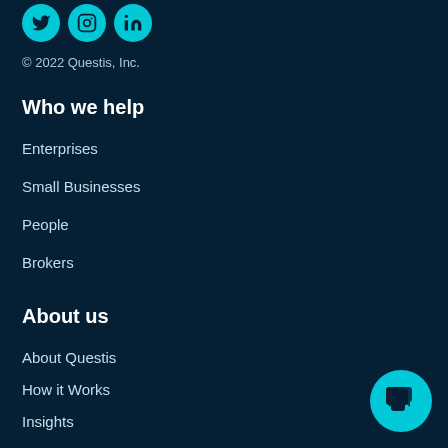[Figure (logo): Three social media icons (Twitter, Instagram, LinkedIn) as cyan circles at the top left]
© 2022 Questis, Inc.
Who we help
Enterprises
Small Businesses
People
Brokers
About us
About Questis
How it Works
Insights
Privacy Policy
[Figure (illustration): Cyan circular chat button icon in the bottom right corner]